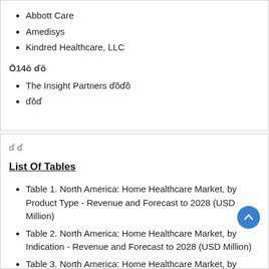Abbott Care
Amedisys
Kindred Healthcare, LLC
Ň14ő đŏ
The Insight Partners đŏđŏ
đŏđ
đ đ
List Of Tables
Table 1. North America: Home Healthcare Market, by Product Type - Revenue and Forecast to 2028 (USD Million)
Table 2. North America: Home Healthcare Market, by Indication - Revenue and Forecast to 2028 (USD Million)
Table 3. North America: Home Healthcare Market, by Service - Revenue and Forecast to 2028 (USD Million)